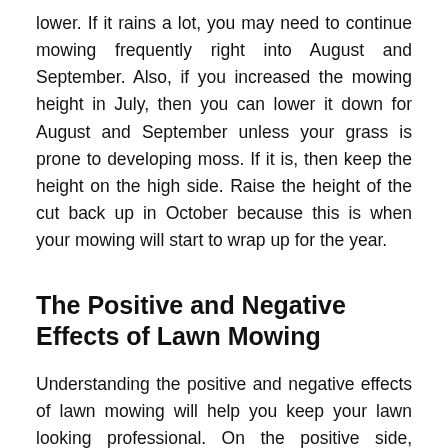lower. If it rains a lot, you may need to continue mowing frequently right into August and September. Also, if you increased the mowing height in July, then you can lower it down for August and September unless your grass is prone to developing moss. If it is, then keep the height on the high side. Raise the height of the cut back up in October because this is when your mowing will start to wrap up for the year.
The Positive and Negative Effects of Lawn Mowing
Understanding the positive and negative effects of lawn mowing will help you keep your lawn looking professional. On the positive side, mowing your lawn